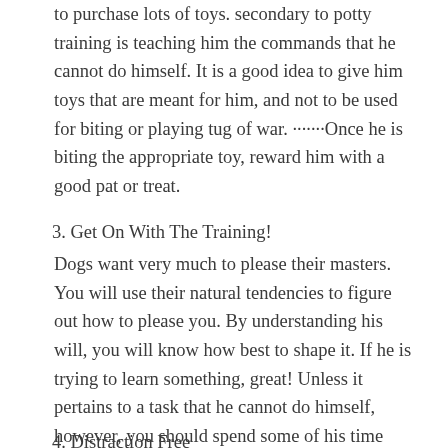to purchase lots of toys. secondary to potty training is teaching him the commands that he cannot do himself. It is a good idea to give him toys that are meant for him, and not to be used for biting or playing tug of war. ·······Once he is biting the appropriate toy, reward him with a good pat or treat.
3. Get On With The Training!
Dogs want very much to please their masters. You will use their natural tendencies to figure out how to please you. By understanding his will, you will know how best to shape it. If he is trying to learn something, great! Unless it pertains to a task that he cannot do himself, however, you should spend some of his time watching his behavior to see how he will best respond to your instruction.
4. Distraction Free